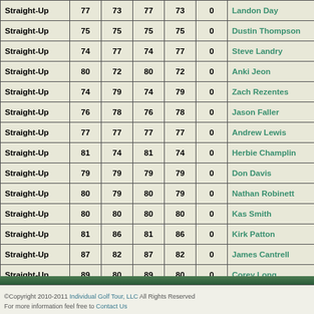| Type | Col1 | Col2 | Col3 | Col4 | Result | Name |
| --- | --- | --- | --- | --- | --- | --- |
| Straight-Up | 77 | 73 | 77 | 73 | 0 | Landon Day |
| Straight-Up | 75 | 75 | 75 | 75 | 0 | Dustin Thompson |
| Straight-Up | 74 | 77 | 74 | 77 | 0 | Steve Landry |
| Straight-Up | 80 | 72 | 80 | 72 | 0 | Anki Jeon |
| Straight-Up | 74 | 79 | 74 | 79 | 0 | Zach Rezentes |
| Straight-Up | 76 | 78 | 76 | 78 | 0 | Jason Faller |
| Straight-Up | 77 | 77 | 77 | 77 | 0 | Andrew Lewis |
| Straight-Up | 81 | 74 | 81 | 74 | 0 | Herbie Champlin |
| Straight-Up | 79 | 79 | 79 | 79 | 0 | Don Davis |
| Straight-Up | 80 | 79 | 80 | 79 | 0 | Nathan Robinett |
| Straight-Up | 80 | 80 | 80 | 80 | 0 | Kas Smith |
| Straight-Up | 81 | 86 | 81 | 86 | 0 | Kirk Patton |
| Straight-Up | 87 | 82 | 87 | 82 | 0 | James Cantrell |
| Straight-Up | 89 | 80 | 89 | 80 | 0 | Corey Long |
©Copyright 2010-2011 Individual Golf Tour, LLC All Rights Reserved
For more information feel free to Contact Us